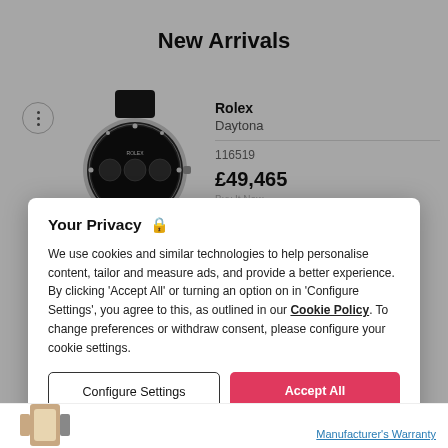New Arrivals
[Figure (photo): Rolex Daytona watch with black rubber strap and black chronograph dial]
Rolex
Daytona
116519
£49,465
Your Privacy 🔒
We use cookies and similar technologies to help personalise content, tailor and measure ads, and provide a better experience. By clicking 'Accept All' or turning an option on in 'Configure Settings', you agree to this, as outlined in our Cookie Policy. To change preferences or withdraw consent, please configure your cookie settings.
Configure Settings
Accept All
Manufacturer's Warranty